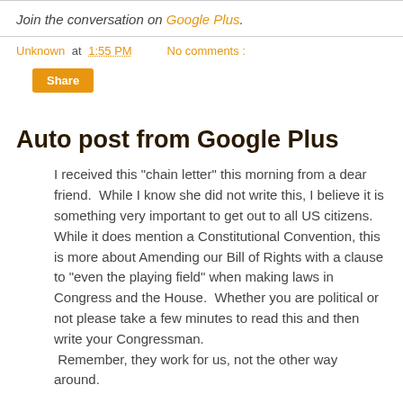Join the conversation on Google Plus.
Unknown at 1:55 PM   No comments :
Share
Auto post from Google Plus
I received this "chain letter" this morning from a dear friend.  While I know she did not write this, I believe it is something very important to get out to all US citizens.  While it does mention a Constitutional Convention, this is more about Amending our Bill of Rights with a clause to "even the playing field" when making laws in Congress and the House.  Whether you are political or not please take a few minutes to read this and then write your Congressman.  Remember, they work for us, not the other way around.